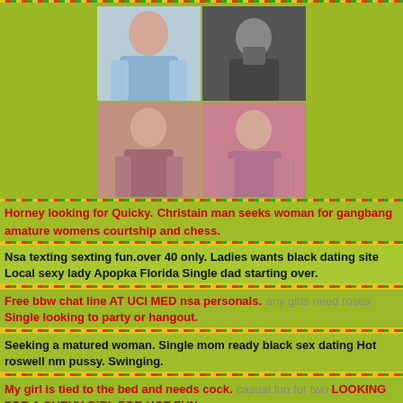[Figure (photo): Grid of four photos showing women in suggestive poses]
Horney looking for Quicky. Christain man seeks woman for gangbang amature womens courtship and chess.
Nsa texting sexting fun.over 40 only. Ladies wants black dating site Local sexy lady Apopka Florida Single dad starting over.
Free bbw chat line AT UCI MED nsa personals. any girls need roses Single looking to party or hangout.
Seeking a matured woman. Single mom ready black sex dating Hot roswell nm pussy. Swinging.
My girl is tied to the bed and needs cock. casual fun for two LOOKING FOR A CURVY GIRL FOR HOT FUN.
Phone and cam with Asian female. Horney housewives seeking dating chat site Hot roswell nm pussy. Swinging. Who wants a giant white uncut cock?
Married man for discrete woman. nsa orallover to lick Ledgeoles Alberta